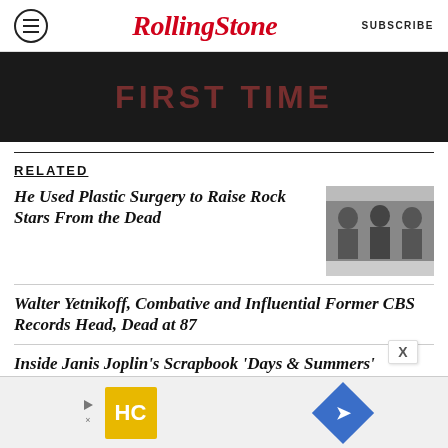Rolling Stone | SUBSCRIBE
[Figure (photo): Dark banner image with 'FIRST TIME' text partially visible in red/dark tones]
RELATED
He Used Plastic Surgery to Raise Rock Stars From the Dead
[Figure (photo): Black and white photo of three men sitting]
Walter Yetnikoff, Combative and Influential Former CBS Records Head, Dead at 87
Inside Janis Joplin's Scrapbook 'Days & Summers'
[Figure (infographic): Advertisement banner with HC logo (yellow) and navigation arrow icon (blue diamond)]